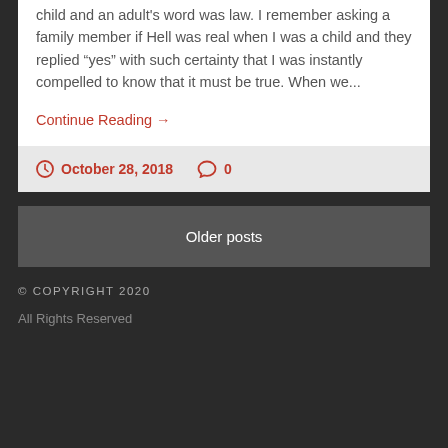child and an adult's word was law. I remember asking a family member if Hell was real when I was a child and they replied “yes” with such certainty that I was instantly compelled to know that it must be true. When we...
Continue Reading →
October 28, 2018  0
Older posts
© COPYRIGHT 2020
All Rights Reserved